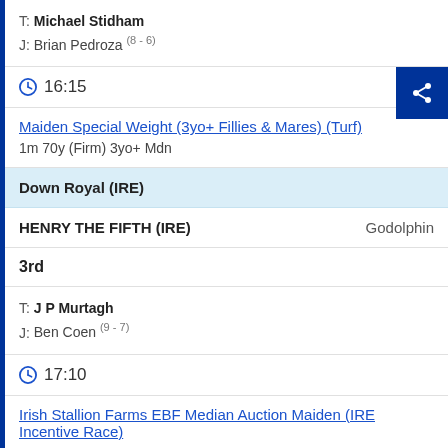T: Michael Stidham
J: Brian Pedroza (8 - 6)
16:15
Maiden Special Weight (3yo+ Fillies & Mares) (Turf)
1m 70y (Firm) 3yo+ Mdn
Down Royal (IRE)
HENRY THE FIFTH (IRE)   Godolphin
3rd
T: J P Murtagh
J: Ben Coen (9 - 7)
17:10
Irish Stallion Farms EBF Median Auction Maiden (IRE Incentive Race)